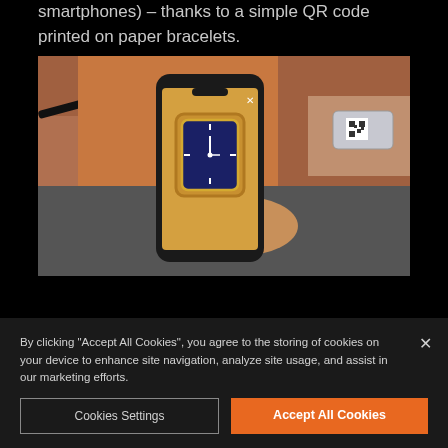smartphones) – thanks to a simple QR code printed on paper bracelets.
[Figure (photo): A person holding a smartphone displaying a gold luxury watch on its screen, with a paper bracelet containing a QR code visible on the wrist in the background.]
By clicking "Accept All Cookies", you agree to the storing of cookies on your device to enhance site navigation, analyze site usage, and assist in our marketing efforts.
Cookies Settings
Accept All Cookies